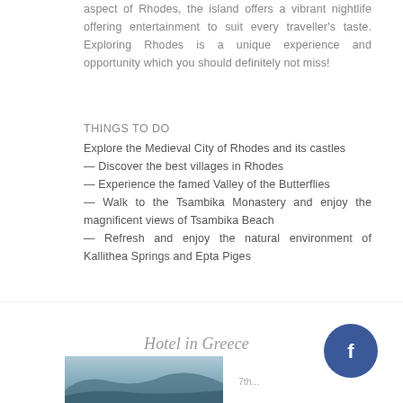aspect of Rhodes, the island offers a vibrant nightlife offering entertainment to suit every traveller's taste. Exploring Rhodes is a unique experience and opportunity which you should definitely not miss!
THINGS TO DO
Explore the Medieval City of Rhodes and its castles
— Discover the best villages in Rhodes
— Experience the famed Valley of the Butterflies
— Walk to the Tsambika Monastery and enjoy the magnificent views of Tsambika Beach
— Refresh and enjoy the natural environment of Kallithea Springs and Epta Piges
Hotel in Greece
[Figure (photo): Photo of a coastal/landscape scene from Rhodes, showing hills or coastline in muted blue-grey tones]
7th...